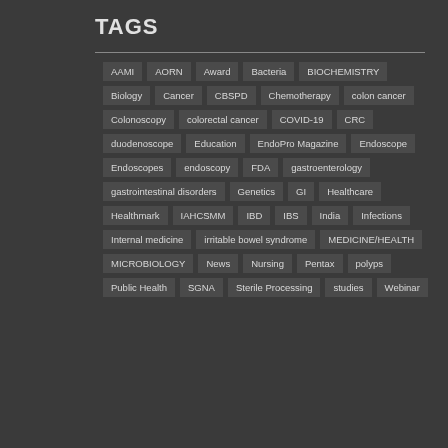TAGS
AAMI
AORN
Award
Bacteria
BIOCHEMISTRY
Biology
Cancer
CBSPD
Chemotherapy
colon cancer
Colonoscopy
colorectal cancer
COVID-19
CRC
duodenoscope
Education
EndoPro Magazine
Endoscope
Endoscopes
endoscopy
FDA
gastroenterology
gastrointestinal disorders
Genetics
GI
Healthcare
Healthmark
IAHCSMM
IBD
IBS
India
Infections
Internal medicine
irritable bowel syndrome
MEDICINE/HEALTH
MICROBIOLOGY
News
Nursing
Pentax
polyps
Public Health
SGNA
Sterile Processing
studies
Webinar